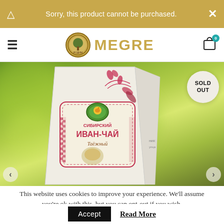Sorry, this product cannot be purchased.
MEGRE
[Figure (photo): Product photo of Siberian Ivan-Chai (Иван-Чай) tea package by Megre brand, shown against a blurred green outdoor background. The package is a folded white paper bag with Cyrillic text reading 'Сибирский Иван-Чай Таёжный' and decorative floral red patterns. A 'SOLD OUT' badge appears in the upper right corner.]
This website uses cookies to improve your experience. We'll assume you're ok with this, but you can opt-out if you wish.
Accept
Read More